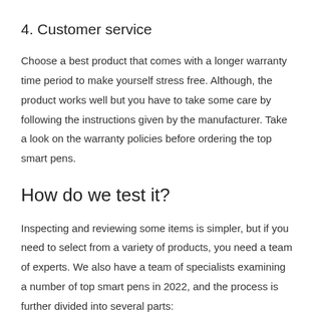4. Customer service
Choose a best product that comes with a longer warranty time period to make yourself stress free. Although, the product works well but you have to take some care by following the instructions given by the manufacturer. Take a look on the warranty policies before ordering the top smart pens.
How do we test it?
Inspecting and reviewing some items is simpler, but if you need to select from a variety of products, you need a team of experts. We also have a team of specialists examining a number of top smart pens in 2022, and the process is further divided into several parts: